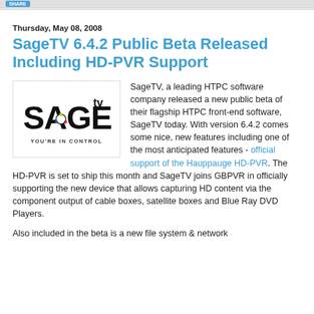SHARE
Thursday, May 08, 2008
SageTV 6.4.2 Public Beta Released Including HD-PVR Support
[Figure (logo): SageTV logo with text YOU'RE IN CONTROL]
SageTV, a leading HTPC software company released a new public beta of their flagship HTPC front-end software, SageTV today.  With version 6.4.2 comes some nice, new features including one of the most anticipated features - official support of the Hauppauge HD-PVR.  The HD-PVR is set to ship this month and SageTV joins GBPVR in officially supporting the new device that allows capturing HD content via the component output of cable boxes, satellite boxes and Blue Ray DVD Players.

Also included in the beta is a new file system & network